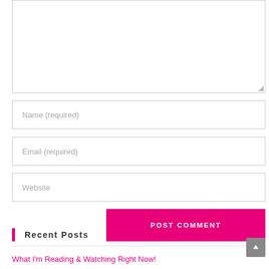[Figure (screenshot): Textarea input field (comment box) with resize handle at bottom-right corner]
Name (required)
Email (required)
Website
POST COMMENT
Recent Posts
What I'm Reading & Watching Right Now!